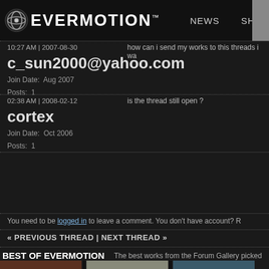EVERMOTION™  NEWS  SHOP
10:27 AM | 2007-08-30    how can i send my works to this threads i wa
c_sun2000@yahoo.com
Join Date:  Aug 2007
Posts:  1
02:38 AM | 2008-02-12    is the thread still open ?
cortex
Join Date:  Oct 2006
Posts:  1
You need to be logged in to leave a comment. You don't have account? R
« PREVIOUS THREAD | NEXT THREAD »
BEST OF EVERMOTION    The best works from the Forum Gallery picked